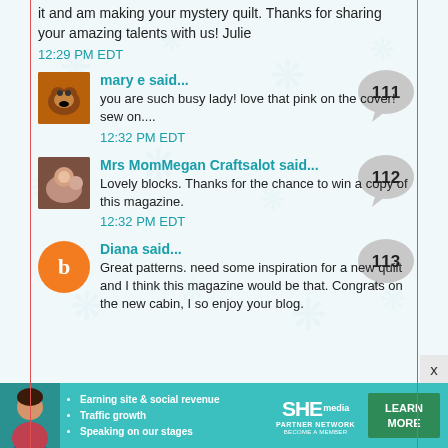it and am making your mystery quilt. Thanks for sharing your amazing talents with us! Julie
12:29 PM EDT
mary e said...
you are such busy lady! love that pink on the cover! sew on....
12:32 PM EDT
Mrs MomMegan Craftsalot said...
Lovely blocks. Thanks for the chance to win a copy of this magazine.
12:32 PM EDT
Diana said...
Great patterns. need some inspiration for a new quilt and I think this magazine would be that. Congrats on the new cabin, I so enjoy your blog.
[Figure (infographic): SHE Partner Network advertisement banner with woman, bullet points about earning, traffic, and speaking, SHE logo, and Learn More button]